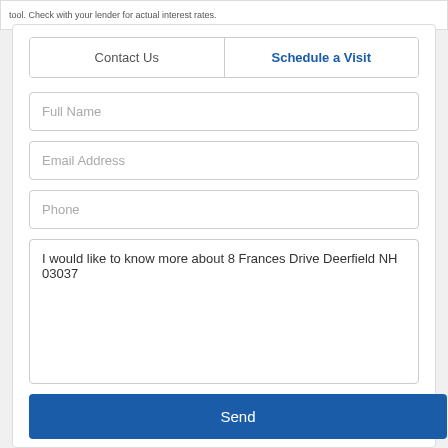tool. Check with your lender for actual interest rates.
Contact Us
Schedule a Visit
Full Name
Email Address
Phone
I would like to know more about 8 Frances Drive Deerfield NH 03037
Send